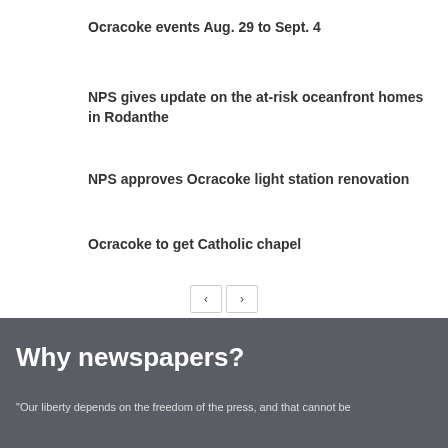Ocracoke events Aug. 29 to Sept. 4
NPS gives update on the at-risk oceanfront homes in Rodanthe
NPS approves Ocracoke light station renovation
Ocracoke to get Catholic chapel
Why newspapers?
"Our liberty depends on the freedom of the press, and that cannot be